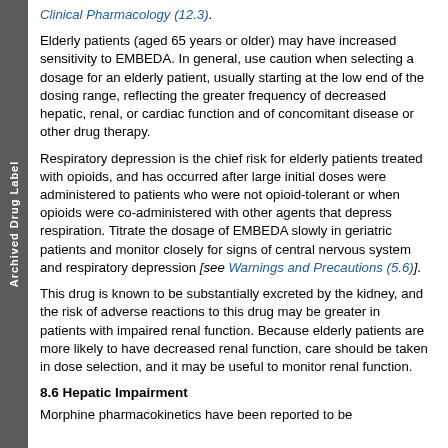Clinical Pharmacology (12.3)].
Elderly patients (aged 65 years or older) may have increased sensitivity to EMBEDA. In general, use caution when selecting a dosage for an elderly patient, usually starting at the low end of the dosing range, reflecting the greater frequency of decreased hepatic, renal, or cardiac function and of concomitant disease or other drug therapy.
Respiratory depression is the chief risk for elderly patients treated with opioids, and has occurred after large initial doses were administered to patients who were not opioid-tolerant or when opioids were co-administered with other agents that depress respiration. Titrate the dosage of EMBEDA slowly in geriatric patients and monitor closely for signs of central nervous system and respiratory depression [see Warnings and Precautions (5.6)].
This drug is known to be substantially excreted by the kidney, and the risk of adverse reactions to this drug may be greater in patients with impaired renal function. Because elderly patients are more likely to have decreased renal function, care should be taken in dose selection, and it may be useful to monitor renal function.
8.6 Hepatic Impairment
Morphine pharmacokinetics have been reported to be